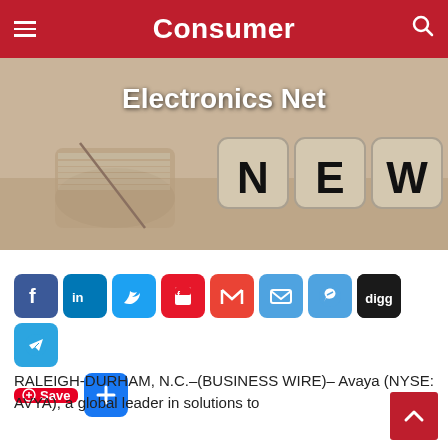Consumer
[Figure (photo): Sepia-toned photo of rolled newspaper and letter dice spelling NEWS on a surface, with text overlay 'Electronics Net']
[Figure (infographic): Social media share buttons: Facebook, LinkedIn, Twitter, Flipboard, Gmail, Email, Messenger, Digg, Telegram, AddThis Plus, Pinterest Save]
RALEIGH-DURHAM, N.C.–(BUSINESS WIRE)– Avaya (NYSE: AVYA), a global leader in solutions to enhance and simplify communications and...